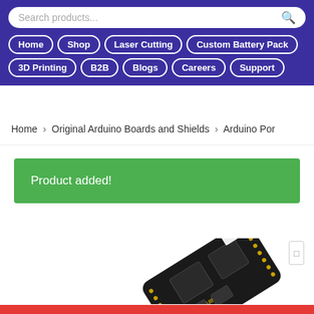Search products... [search icon]
Home | Shop | Laser Cutting | Custom Battery Pack | 3D Printing | B2B | Blogs | Careers | Support
Home > Original Arduino Boards and Shields > Arduino Por
Product added!
[Figure (photo): Arduino Portenta or similar Arduino board, black PCB with chips and gold pins, partially visible at the bottom of the page]